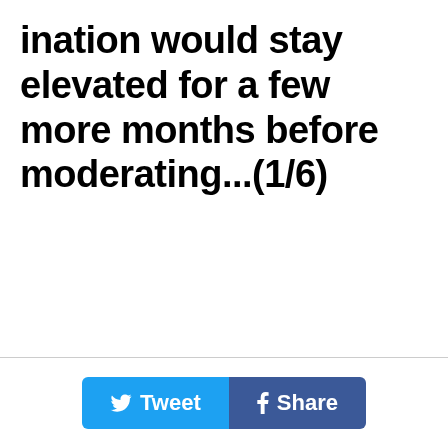ination would stay elevated for a few more months before moderating...(1/6)
Tweet | Share